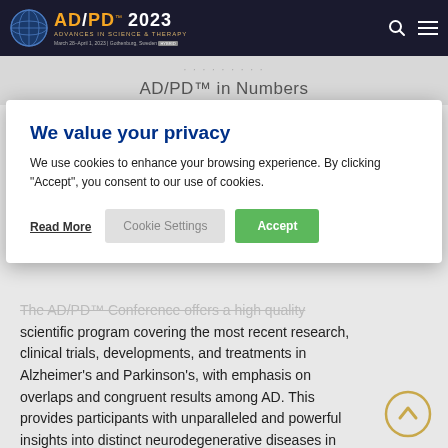AD/PD™ 2023 — ADVANCES IN SCIENCE & THERAPY — March 28–April 1, 2023 | Gothenburg, Sweden
AD/PD™ in Numbers
We value your privacy
We use cookies to enhance your browsing experience. By clicking "Accept", you consent to our use of cookies.
Read More
Cookie Settings
Accept
The AD/PD™ Conference offers a high quality scientific program covering the most recent research, clinical trials, developments, and treatments in Alzheimer's and Parkinson's, with emphasis on overlaps and congruent results among AD. This provides participants with unparalleled and powerful insights into distinct neurodegenerative diseases in